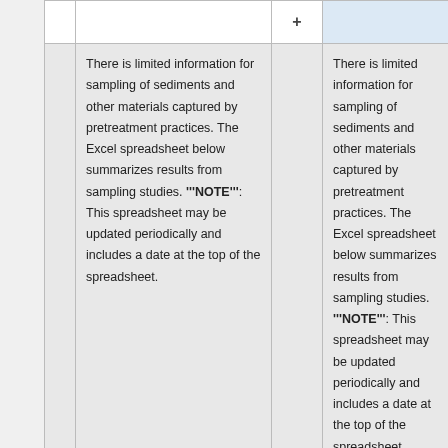|  | + |  |
| There is limited information for sampling of sediments and other materials captured by pretreatment practices. The Excel spreadsheet below summarizes results from sampling studies. '''NOTE''': This spreadsheet may be updated periodically and includes a date at the top of the spreadsheet. |  | There is limited information for sampling of sediments and other materials captured by pretreatment practices. The Excel spreadsheet below summarizes results from sampling studies. '''NOTE''': This spreadsheet may be updated periodically and includes a date at the top of the spreadsheet. |
|  |  |  |